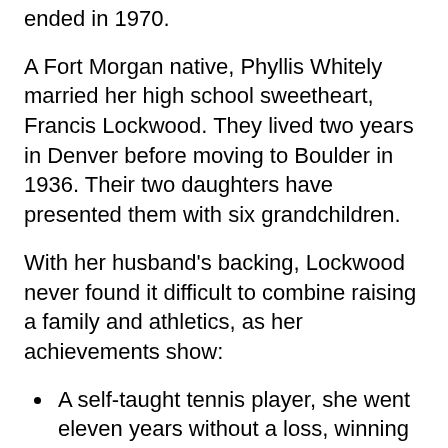ended in 1970.
A Fort Morgan native, Phyllis Whitely married her high school sweetheart, Francis Lockwood. They lived two years in Denver before moving to Boulder in 1936. Their two daughters have presented them with six grandchildren.
With her husband's backing, Lockwood never found it difficult to combine raising a family and athletics, as her achievements show:
A self-taught tennis player, she went eleven years without a loss, winning almost every Colorado championship and no fewer than seven Intermountain crowns. She held the singles title continuously until 1941, when she retired and returned to win again in 1946.
A star performer for the Denver Dry Goods and Viner Chevrolet AAU basketball teams; she was also